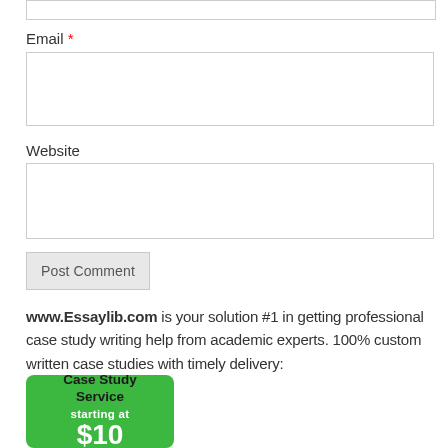Email *
Website
Post Comment
www.Essaylib.com is your solution #1 in getting professional case study writing help from academic experts. 100% custom written case studies with timely delivery:
[Figure (infographic): Green rounded rectangle banner reading 'Case Study Service starting at $10']